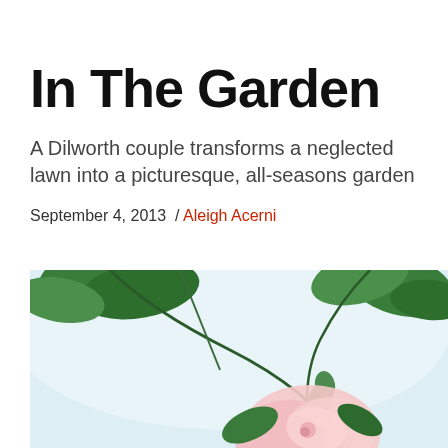In The Garden
A Dilworth couple transforms a neglected lawn into a picturesque, all-seasons garden
September 4, 2013  /  Aleigh Acerni
[Figure (photo): Close-up photograph of pink flowers and green leaves, soft-focus background with light blue-white sky]